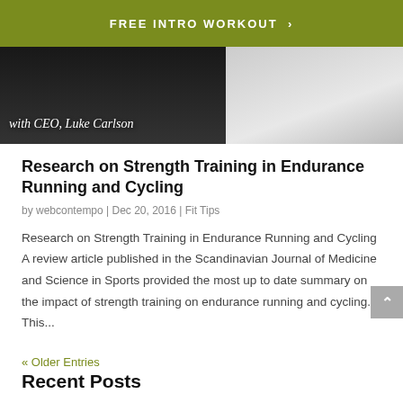FREE INTRO WORKOUT >
[Figure (photo): Hero image of a person with text overlay 'with CEO, Luke Carlson']
Research on Strength Training in Endurance Running and Cycling
by webcontempo | Dec 20, 2016 | Fit Tips
Research on Strength Training in Endurance Running and Cycling A review article published in the Scandinavian Journal of Medicine and Science in Sports provided the most up to date summary on the impact of strength training on endurance running and cycling.  This...
« Older Entries
Recent Posts